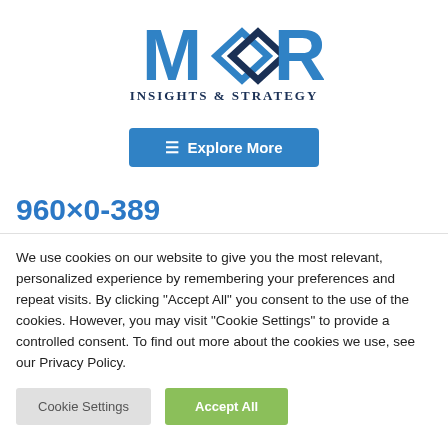[Figure (logo): Moor Insights & Strategy logo with two interlocking diamond/circle shapes in blue and dark navy, with text 'INSIGHTS & STRATEGY' below in dark navy serif font]
Explore More
960×0-389
We use cookies on our website to give you the most relevant, personalized experience by remembering your preferences and repeat visits. By clicking "Accept All" you consent to the use of the cookies. However, you may visit "Cookie Settings" to provide a controlled consent. To find out more about the cookies we use, see our Privacy Policy.
Cookie Settings
Accept All